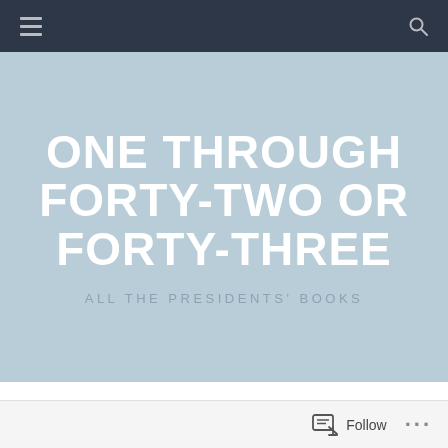ONE THROUGH FORTY-TWO OR FORTY-THREE
ALL THE PRESIDENTS' BOOKS
DEMOCRATS
Follow